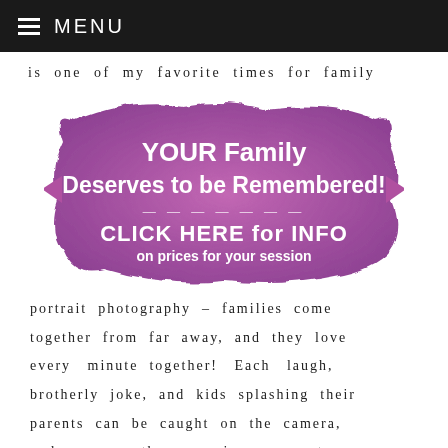MENU
is one of my favorite times for family
[Figure (infographic): Purple watercolor-style banner with bold white text reading 'YOUR Family Deserves to be Remembered!' and below a dashed separator 'CLICK HERE for INFO on prices for your session']
portrait photography – families come together from far away, and they love every minute together! Each laugh, brotherly joke, and kids splashing their parents can be caught on the camera, and preserve these precious moments